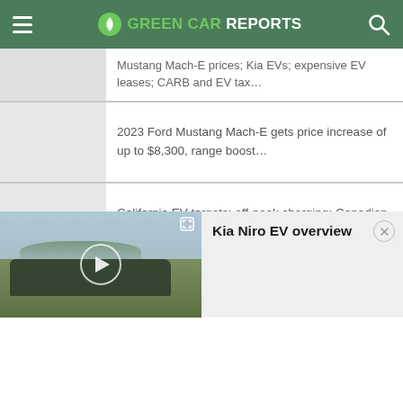GREEN CAR REPORTS
Mustang Mach-E prices; Kia EVs; expensive EV leases; CARB and EV tax…
2023 Ford Mustang Mach-E gets price increase of up to $8,300, range boost…
California EV targets; off-peak charging; Canadian supply chain for…
[Figure (screenshot): Kia Niro EV overview video thumbnail with play button, showing a dark Kia Niro EV on a desert road]
Kia Niro EV overview